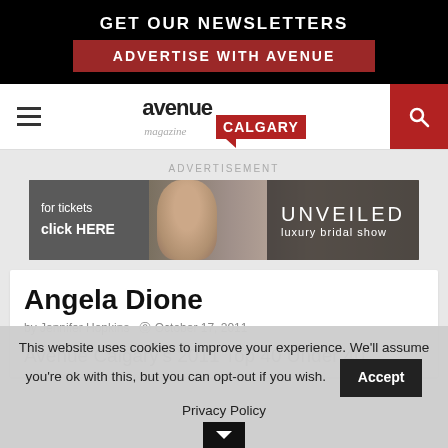GET OUR NEWSLETTERS
ADVERTISE WITH AVENUE
[Figure (logo): Avenue Calgary magazine logo with red speech bubble]
ADVERTISEMENT
[Figure (photo): Unveiled luxury bridal show advertisement banner with bride wearing veil]
Angela Dione
by Jennifer Hopkins  © October 17, 2011
Avenue Calgary's 2011 Top 40 Under 40.
This website uses cookies to improve your experience. We'll assume you're ok with this, but you can opt-out if you wish.
Accept
Privacy Policy